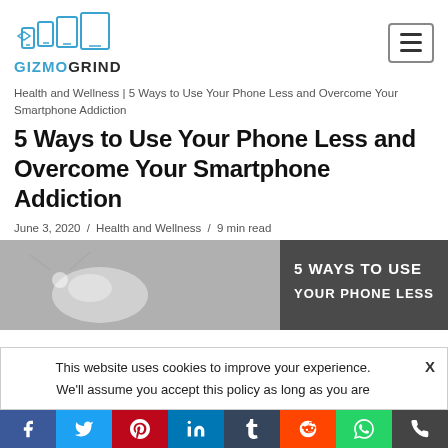[Figure (logo): GizmoGrind logo with phone/tablet icons above the brand name in blue and black]
Health and Wellness | 5 Ways to Use Your Phone Less and Overcome Your Smartphone Addiction
5 Ways to Use Your Phone Less and Overcome Your Smartphone Addiction
June 3, 2020 / Health and Wellness / 9 min read
[Figure (photo): Article hero image with earbuds and smart device on left, dark gray panel on right with text '5 WAYS TO USE YOUR PHONE LESS']
This website uses cookies to improve your experience. We'll assume you accept this policy as long as you are
[Figure (infographic): Social sharing bar with Facebook, Twitter, Pinterest, LinkedIn, Tumblr, Reddit, WhatsApp, and phone icons]